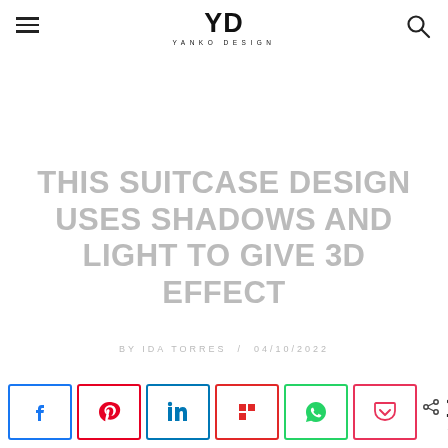YD YANKO DESIGN
THIS SUITCASE DESIGN USES SHADOWS AND LIGHT TO GIVE 3D EFFECT
BY IDA TORRES / 04/10/2022
[Figure (other): Social share buttons: Facebook, Pinterest, LinkedIn, Flipboard, WhatsApp, Pocket. Share count: 149 SHARES]